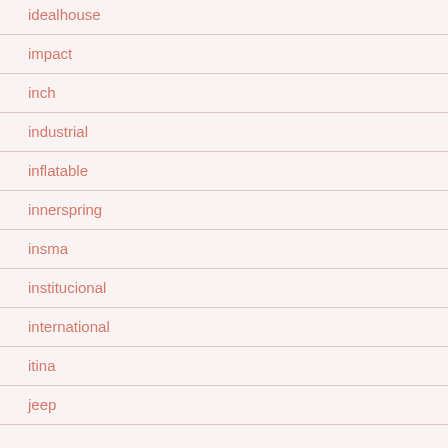idealhouse
impact
inch
industrial
inflatable
innerspring
insma
institucional
international
itina
jeep